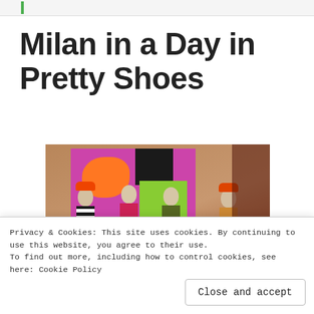Milan in a Day in Pretty Shoes
[Figure (photo): Fashion store window display with mannequins wearing colorful outfits and orange hats against a vibrant purple and multicolor background.]
Privacy & Cookies: This site uses cookies. By continuing to use this website, you agree to their use.
To find out more, including how to control cookies, see here: Cookie Policy
Close and accept